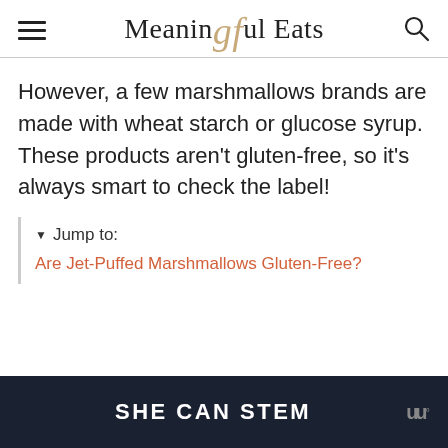Meaningful Eats
However, a few marshmallows brands are made with wheat starch or glucose syrup. These products aren't gluten-free, so it's always smart to check the label!
▼ Jump to:
Are Jet-Puffed Marshmallows Gluten-Free?
[Figure (other): Advertisement banner with dark background showing 'SHE CAN STEM' text and a logo]